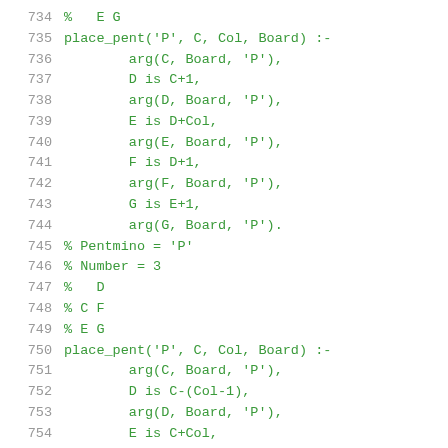734  % E G
735  place_pent('P', C, Col, Board) :-
736       arg(C, Board, 'P'),
737       D is C+1,
738       arg(D, Board, 'P'),
739       E is D+Col,
740       arg(E, Board, 'P'),
741       F is D+1,
742       arg(F, Board, 'P'),
743       G is E+1,
744       arg(G, Board, 'P').
745  % Pentmino = 'P'
746  % Number = 3
747  %  D
748  % C F
749  % E G
750  place_pent('P', C, Col, Board) :-
751       arg(C, Board, 'P'),
752       D is C-(Col-1),
753       arg(D, Board, 'P'),
754       E is C+Col,